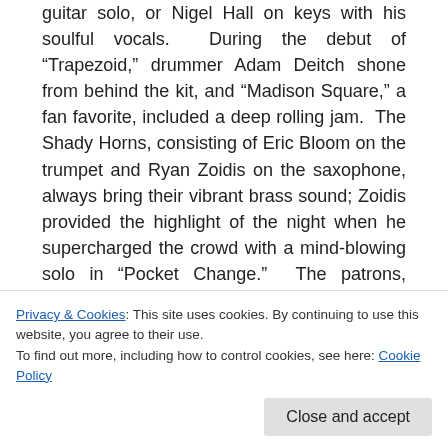guitar solo, or Nigel Hall on keys with his soulful vocals. During the debut of “Trapezoid,” drummer Adam Deitch shone from behind the kit, and “Madison Square,” a fan favorite, included a deep rolling jam. The Shady Horns, consisting of Eric Bloom on the trumpet and Ryan Zoidis on the saxophone, always bring their vibrant brass sound; Zoidis provided the highlight of the night when he supercharged the crowd with a mind-blowing solo in “Pocket Change.” The patrons, myself included, were all grooving to his fierce, jazzy, horn funk. Hall
Privacy & Cookies: This site uses cookies. By continuing to use this website, you agree to their use.
To find out more, including how to control cookies, see here: Cookie Policy
Close and accept
and I revel in the opportunity to see them live.